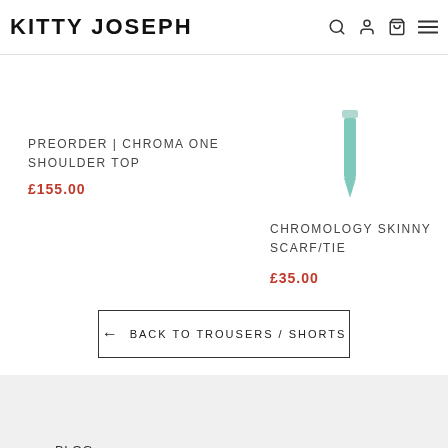KITTY JOSEPH
PREORDER | CHROMA ONE SHOULDER TOP
£155.00
[Figure (photo): Small product image of Chromology Skinny Scarf/Tie in teal/mint color]
CHROMOLOGY SKINNY SCARF/TIE
£35.00
← BACK TO TROUSERS / SHORTS
BLOG
FAQs